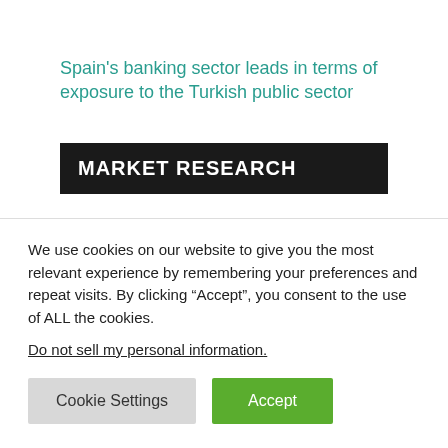Spain's banking sector leads in terms of exposure to the Turkish public sector
MARKET RESEARCH
Global entertainment & media revenues surge to $2.3 trillion; virtual reality sees 36% growth as gaming and sports are on course to become a $994 billion business
We use cookies on our website to give you the most relevant experience by remembering your preferences and repeat visits. By clicking “Accept”, you consent to the use of ALL the cookies.
Do not sell my personal information.